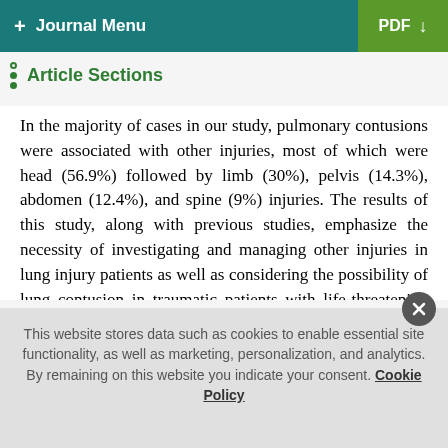+ Journal Menu   PDF ↓
Article Sections
In the majority of cases in our study, pulmonary contusions were associated with other injuries, most of which were head (56.9%) followed by limb (30%), pelvis (14.3%), abdomen (12.4%), and spine (9%) injuries. The results of this study, along with previous studies, emphasize the necessity of investigating and managing other injuries in lung injury patients as well as considering the possibility of lung contusion in traumatic patients with life-threatening injuries [16].
In general, various studies have reported an incidence of 25% to 35% of pulmonary blunt trauma, which accounts for more than 25% of blunt trauma mortality [17]. In our study, out of the 399
This website stores data such as cookies to enable essential site functionality, as well as marketing, personalization, and analytics. By remaining on this website you indicate your consent. Cookie Policy